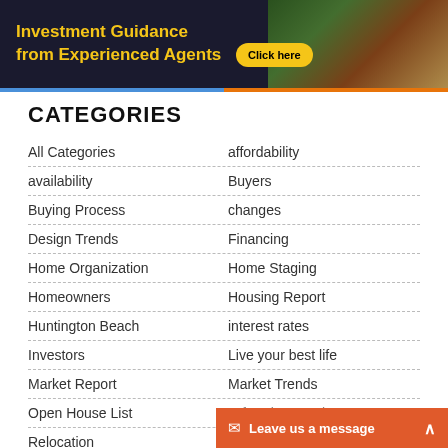[Figure (other): Banner advertisement with dark background, yellow text 'Investment Guidance from Experienced Agents', yellow 'Click here' button, and Monopoly board game image on right]
CATEGORIES
All Categories | affordability
availability | Buyers
Buying Process | changes
Design Trends | Financing
Home Organization | Home Staging
Homeowners | Housing Report
Huntington Beach | interest rates
Investors | Live your best life
Market Report | Market Trends
Open House List | Referral Network
Relocation
[Figure (other): Orange notification bar with envelope icon and text 'Leave us a message' with expand arrow]